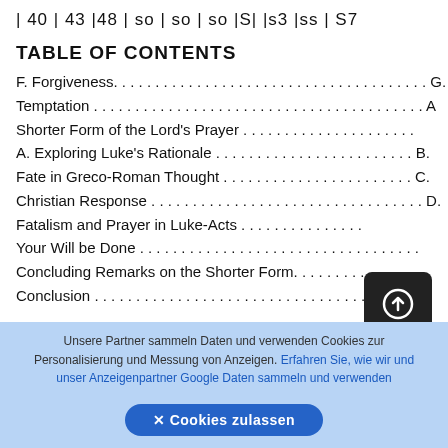| 40 | 43 |48 | so | so | so |S| |s3 |ss | S7
TABLE OF CONTENTS
F. Forgiveness. . . . . . . . . . . . . . . . . . . . . . . . . . . . . . . . . . . . G.
Temptation . . . . . . . . . . . . . . . . . . . . . . . . . . . . . . . . . . . . . . A
Shorter Form of the Lord's Prayer . . . . . . . . . . . . . . . . . . .
A. Exploring Luke's Rationale . . . . . . . . . . . . . . . . . . . . . . . B.
Fate in Greco-Roman Thought . . . . . . . . . . . . . . . . . . . . . C.
Christian Response . . . . . . . . . . . . . . . . . . . . . . . . . . . . . . . D.
Fatalism and Prayer in Luke-Acts . . . . . . . . . . . . . .
Your Will be Done . . . . . . . . . . . . . . . . . . . . . . . . . . . . . . .
Concluding Remarks on the Shorter Form. . . . . . . . .
Conclusion . . . . . . . . . . . . . . . . . . . . . . . . . . . . . . . . . . . . . .
Unsere Partner sammeln Daten und verwenden Cookies zur Personalisierung und Messung von Anzeigen. Erfahren Sie, wie wir und unser Anzeigenpartner Google Daten sammeln und verwenden. ✕ Cookies zulassen